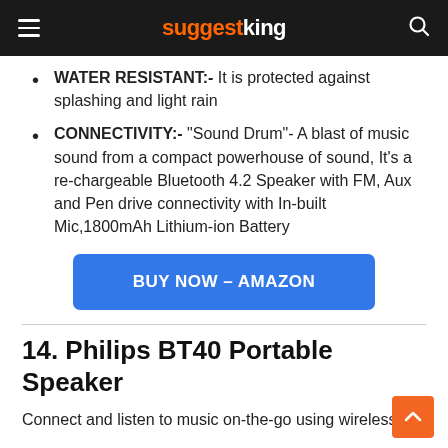suggestking
WATER RESISTANT:- It is protected against splashing and light rain
CONNECTIVITY:- “Sound Drum”- A blast of music sound from a compact powerhouse of sound, It’s a re-chargeable Bluetooth 4.2 Speaker with FM, Aux and Pen drive connectivity with In-built Mic,1800mAh Lithium-ion Battery
BUY NOW – AMAZON
14. Philips BT40 Portable Speaker
Connect and listen to music on-the-go using wireless